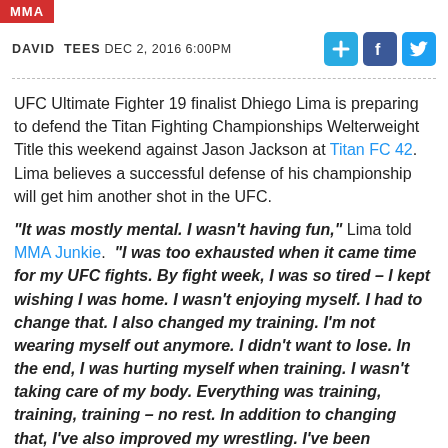MMA
DAVID TEES DEC 2, 2016 6:00PM
UFC Ultimate Fighter 19 finalist Dhiego Lima is preparing to defend the Titan Fighting Championships Welterweight Title this weekend against Jason Jackson at Titan FC 42. Lima believes a successful defense of his championship will get him another shot in the UFC.
“It was mostly mental. I wasn’t having fun,” Lima told MMA Junkie. “I was too exhausted when it came time for my UFC fights. By fight week, I was so tired – I kept wishing I was home. I wasn’t enjoying myself. I had to change that. I also changed my training. I’m not wearing myself out anymore. I didn’t want to lose. In the end, I was hurting myself when training. I wasn’t taking care of my body. Everything was training, training, training – no rest. In addition to changing that, I’ve also improved my wrestling. I’ve been working a lot